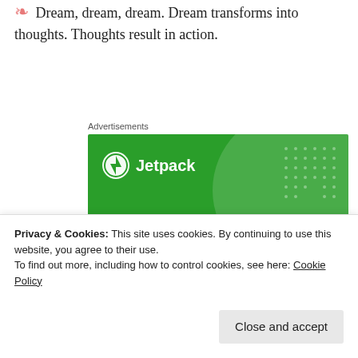❧ Dream, dream, dream. Dream transforms into thoughts. Thoughts result in action.
Advertisements
[Figure (illustration): Jetpack WordPress plugin advertisement banner on green background with headline 'The best real-time WordPress backup plugin' and 'Back up your site' button]
Privacy & Cookies: This site uses cookies. By continuing to use this website, you agree to their use.
To find out more, including how to control cookies, see here: Cookie Policy
Close and accept